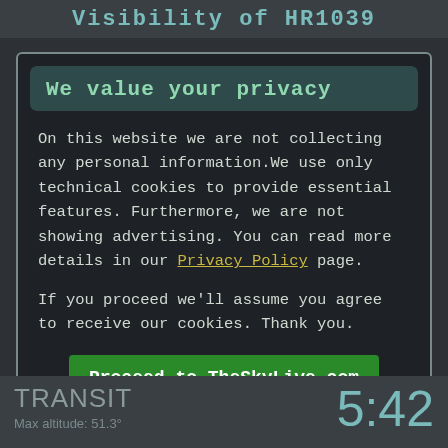Visibility of HR1039
We value your privacy
On this website we are not collecting any personal information.We use only technical cookies to provide essential features. Furthermore, we are not showing advertising. You can read more details in our Privacy Policy page.
If you proceed we'll assume you agree to receive our cookies. Thank you.
Proceed to TheSkyLive.com
TRANSIT   Max altitude: 51.3°   5:42